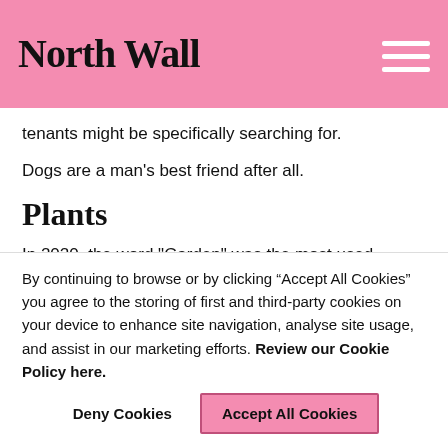North Wall
tenants might be specifically searching for.
Dogs are a man's best friend after all.
Plants
In 2020, the word "Garden" was the most used search term by renters on a popular property portal. Many of us want to feel surrounded by nature.
By continuing to browse or by clicking “Accept All Cookies” you agree to the storing of first and third-party cookies on your device to enhance site navigation, analyse site usage, and assist in our marketing efforts. Review our Cookie Policy here.
Deny Cookies
Accept All Cookies